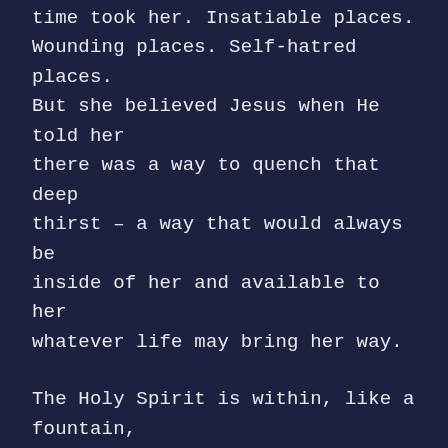time took her. Insatiable places. Wounding places. Self-hatred places. But she believed Jesus when He told her there was a way to quench that deep thirst – a way that would always be inside of her and available to her whatever life may bring her way.
The Holy Spirit is within, like a fountain, rising up in great waves at times; at other times low and almost imperceptible. Jesus didn't mean that we wouldn't be thirsty in this life, He meant that His source of satisfaction would be more than one glass of water. Jesus gives us a hidden fountain that no one else can give us, a fountain of wisdom, joy, comfort and life. A fountain